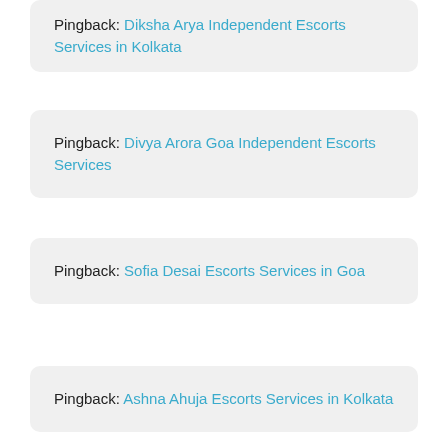Pingback: Diksha Arya Independent Escorts Services in Kolkata
Pingback: Divya Arora Goa Independent Escorts Services
Pingback: Sofia Desai Escorts Services in Goa
Pingback: Ashna Ahuja Escorts Services in Kolkata
Pingback: Goa Escorts Services